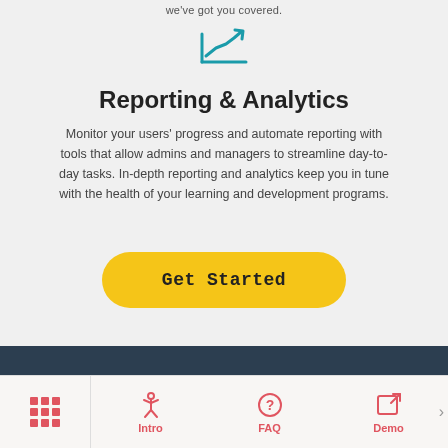we've got you covered.
[Figure (illustration): Teal/cyan line chart icon with upward trending arrow]
Reporting & Analytics
Monitor your users' progress and automate reporting with tools that allow admins and managers to streamline day-to-day tasks. In-depth reporting and analytics keep you in tune with the health of your learning and development programs.
Get Started
Intro | FAQ | Demo